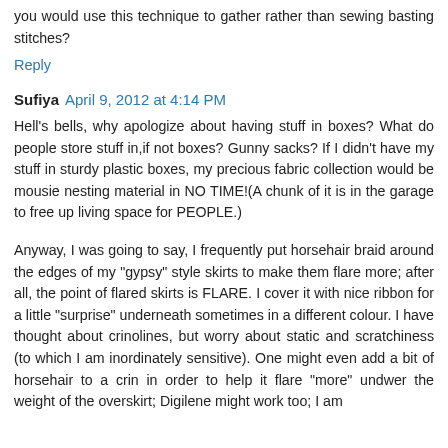you would use this technique to gather rather than sewing basting stitches?
Reply
Sufiya  April 9, 2012 at 4:14 PM
Hell's bells, why apologize about having stuff in boxes? What do people store stuff in,if not boxes? Gunny sacks? If I didn't have my stuff in sturdy plastic boxes, my precious fabric collection would be mousie nesting material in NO TIME!(A chunk of it is in the garage to free up living space for PEOPLE.)
Anyway, I was going to say, I frequently put horsehair braid around the edges of my "gypsy" style skirts to make them flare more; after all, the point of flared skirts is FLARE. I cover it with nice ribbon for a little "surprise" underneath sometimes in a different colour. I have thought about crinolines, but worry about static and scratchiness (to which I am inordinately sensitive). One might even add a bit of horsehair to a crin in order to help it flare "more" undwer the weight of the overskirt; Digilene might work too; I am